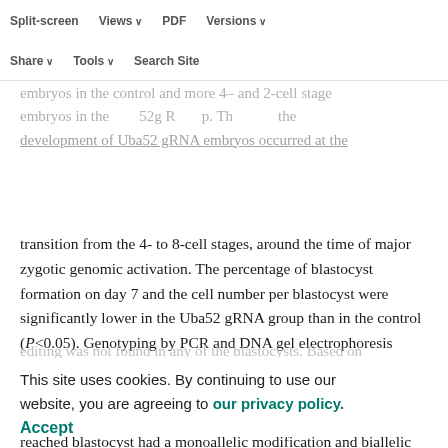Split-screen | Views | PDF | Versions | Share | Tools | Search Site
embryos was significantly different between the Uba52 gRNA and control groups (P<0.05), with more 8-cell stage embryos in the control and more 4- and 2-cell stage embryos in the Uba52 gRNA group. The arrest in the development of Uba52 gRNA embryos occurred at the transition from the 4- to 8-cell stages, around the time of major zygotic genomic activation. The percentage of blastocyst formation on day 7 and the cell number per blastocyst were significantly lower in the Uba52 gRNA group than in the control (P<0.05). Genotyping by PCR and DNA gel electrophoresis analysis showed that 91.8% of embryos that failed to develop to blastocyst had either a monoallelic or a biallelic modification of the Uba52 gene. In comparison, only 24.4% of embryos that reached blastocyst had a monoallelic modification and biallelic editing was not found in any of the blastocysts. Based on immuno-labeling intensity, both UBA52 and proteasome protein levels on days 4 and 7 of culture were significantly lower in the Uba52 gRNA group than in the control (P<0.05).
This site uses cookies. By continuing to use our website, you are agreeing to our privacy policy. Accept